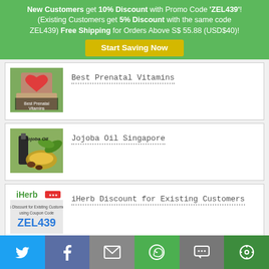New Customers get 10% Discount with Promo Code 'ZEL439'! (Existing Customers get 5% Discount with the same code ZEL439) Free Shipping for Orders Above S$ 55.88 (USD$40)!
Start Saving Now
[Figure (photo): Pregnant woman holding heart shape, labeled Best Prenatal Vitamins]
Best Prenatal Vitamins
[Figure (photo): Bottle of jojoba oil with plant, labeled Jojoba Oil]
Jojoba Oil Singapore
[Figure (photo): iHerb logo with text 5% Discount for Existing Customers using Coupon Code ZEL439]
iHerb Discount for Existing Customers
[Figure (infographic): Social share bar with Twitter, Facebook, Email, WhatsApp, SMS, and More icons]